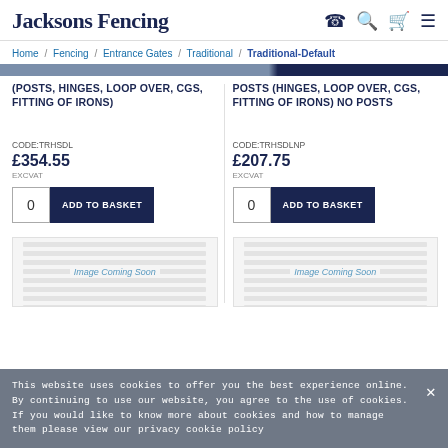Jacksons Fencing
Home / Fencing / Entrance Gates / Traditional / Traditional-Default
(POSTS, HINGES, LOOP OVER, CGS, FITTING OF IRONS)
CODE:TRHSDL
£354.55
EXCVAT
POSTS (HINGES, LOOP OVER, CGS, FITTING OF IRONS) NO POSTS
CODE:TRHSDLNP
£207.75
EXCVAT
[Figure (other): Image Coming Soon placeholder]
[Figure (other): Image Coming Soon placeholder]
This website uses cookies to offer you the best experience online. By continuing to use our website, you agree to the use of cookies. If you would like to know more about cookies and how to manage them please view our privacy cookie policy